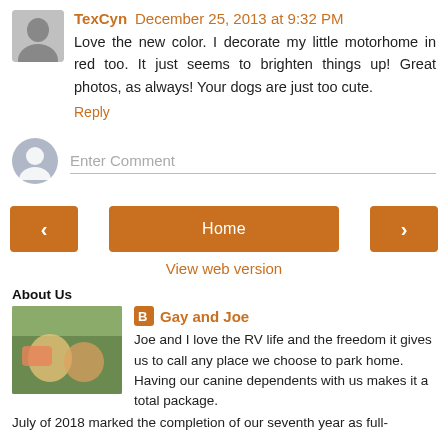TexCyn December 25, 2013 at 9:32 PM
Love the new color. I decorate my little motorhome in red too. It just seems to brighten things up! Great photos, as always! Your dogs are just too cute.
Reply
[Figure (other): Enter Comment input field with generic user avatar placeholder]
[Figure (other): Navigation buttons: left arrow, Home, right arrow; and View web version link]
About Us
Gay and Joe
Joe and I love the RV life and the freedom it gives us to call any place we choose to park home. Having our canine dependents with us makes it a total package. July of 2018 marked the completion of our seventh year as full-